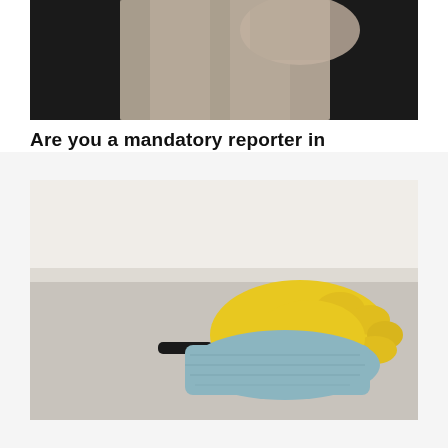[Figure (photo): Partial view of a person in beige/cream clothing against a dark background, only lower torso visible]
Are you a mandatory reporter in New South Wales?
[Figure (photo): Close-up of a gloved hand wearing a yellow rubber glove, cleaning a surface (appears to be a drawer or cabinet) with a light blue cloth/microfiber towel]